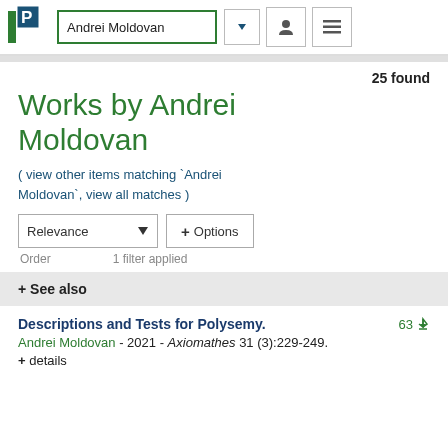Andrei Moldovan
25 found
Works by Andrei Moldovan
( view other items matching `Andrei Moldovan`, view all matches )
Relevance ▾ + Options
Order   1 filter applied
+ See also
Descriptions and Tests for Polysemy.   63
Andrei Moldovan - 2021 - Axiomathes 31 (3):229-249.
+ details